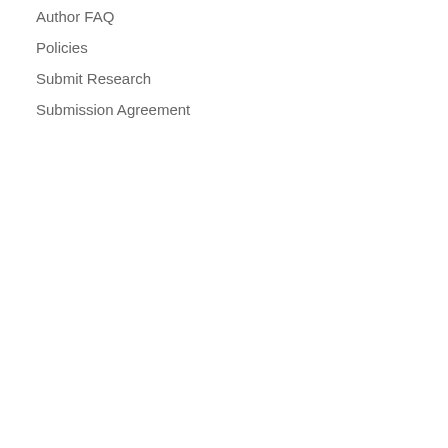Author FAQ
Policies
Submit Research
Submission Agreement
interim government shape and design a system based on their institutions are reflections of the motivations and preferences of and negotiation environments, pacts allow for an acclimation t system. During pacted transitio government and society, a rela regime. The mass public also t a multi-party system and electi by phasing out the old system adjustment so the society can system. To answer the central on three successes of the third transitions and the nature of th about the nature of their succe negotiations have on the trans and Hungary can be explored, conducive conditions and dyna hypotheses to be tested in the
Comments
Full-text download restricted to
Keywords
Democratization -- Europe -- C Europe -- Politics and governm